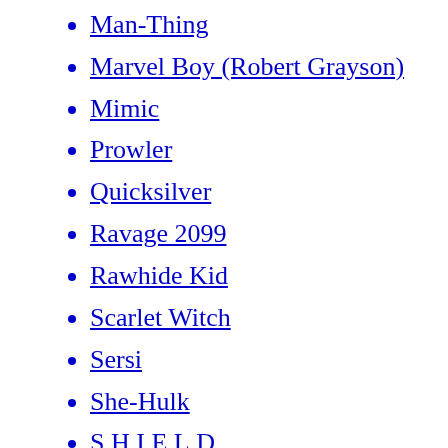Kid Colt
Man-Thing
Marvel Boy (Robert Grayson)
Mimic
Prowler
Quicksilver
Ravage 2099
Rawhide Kid
Scarlet Witch
Sersi
She-Hulk
S.H.I.E.L.D.
Spider-Man
Stan Lee's Mighty 7
Starborn
Swordsman
The Guardian Project
Thor
Two-Gun Kid
Venus
Vision
Adam Warlock
Wasp
Witness
Wonder Man
X-M...